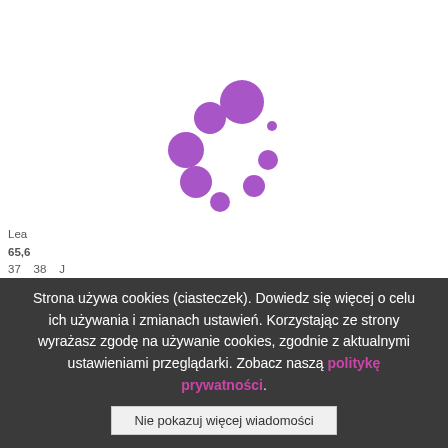[Figure (other): Purple loading spinner made of circles of varying sizes arranged in a circular pattern]
Learn more about app. 65,658 38
Strona używa cookies (ciasteczek). Dowiedz się więcej o celu ich używania i zmianach ustawień. Korzystając ze strony wyrażasz zgodę na używanie cookies, zgodnie z aktualnymi ustawieniami przeglądarki. Zobacz naszą politykę prywatności.
Nie pokazuj więcej wiadomości